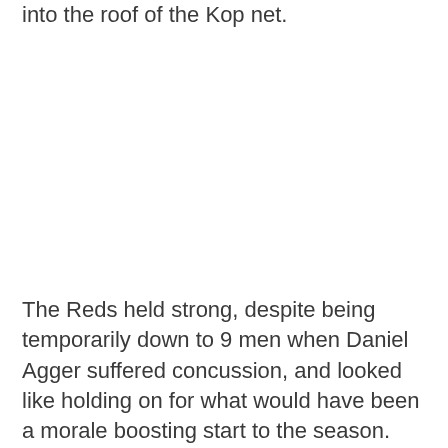into the roof of the Kop net.
The Reds held strong, despite being temporarily down to 9 men when Daniel Agger suffered concussion, and looked like holding on for what would have been a morale boosting start to the season.